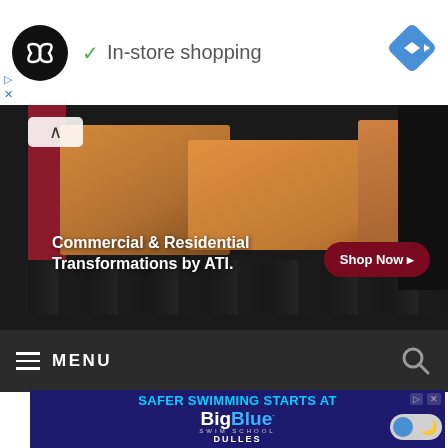[Figure (screenshot): Top bar with logo circle (dark with infinity symbol), green checkmark and 'In-store shopping' text, blue diamond navigation icon top right, ad control buttons (play triangle, X) bottom left]
[Figure (photo): Commercial interior flooring advertisement banner showing copper/orange reception counters on dark wood flooring with red panel. Text: 'Commercial & Residential Transformations by ATI.' with 'Shop Now' dark red button. Chevron up arrow top left.]
[Figure (screenshot): Dark navigation bar with hamburger menu icon and MENU label on left, search magnifier icon on right, on dark background strip]
[Figure (screenshot): BigBlue Swim School advertisement on dark navy background. Text 'SAFER SWIMMING STARTS AT' in cyan, 'BigBlue' in white/blue large font, 'SWIM SCHOOL' small text, 'DULLES' below. Ad controls top right. Blue/grey toggle button bottom right.]